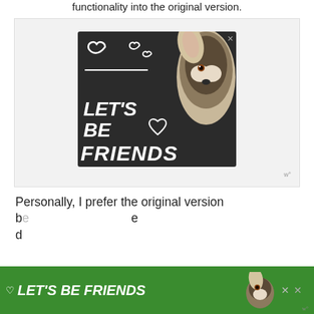functionality into the original version.
[Figure (photo): Advertisement banner with dark background showing a husky dog and text 'LET'S BE FRIENDS' in large bold white italic letters, with white heart outlines. A small X close button appears in the top right corner. A small logo mark appears in the bottom right of the ad container.]
Personally, I prefer the original version b... e... d...
[Figure (photo): Secondary green advertisement banner at the bottom showing 'LET'S BE FRIENDS' text with husky dog image, close buttons, and small logo.]